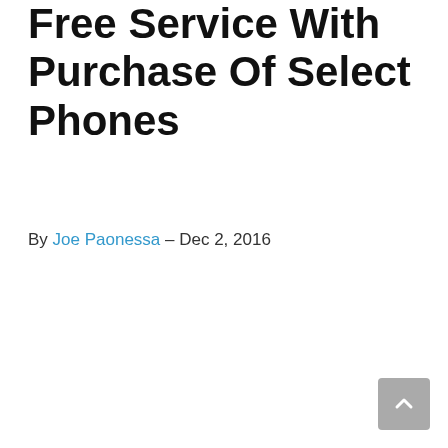Free Service With Purchase Of Select Phones
By Joe Paonessa – Dec 2, 2016